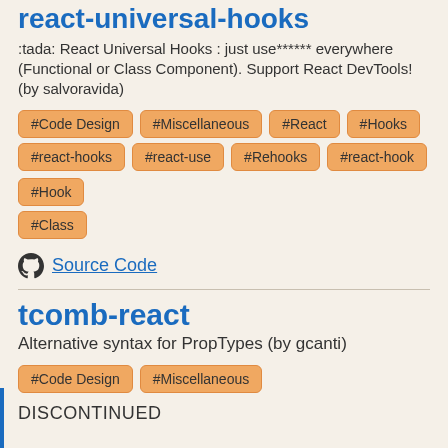react-universal-hooks
:tada: React Universal Hooks : just use****** everywhere (Functional or Class Component). Support React DevTools! (by salvoravida)
#Code Design
#Miscellaneous
#React
#Hooks
#react-hooks
#react-use
#Rehooks
#react-hook
#Hook
#Class
Source Code
tcomb-react
Alternative syntax for PropTypes (by gcanti)
#Code Design
#Miscellaneous
DISCONTINUED